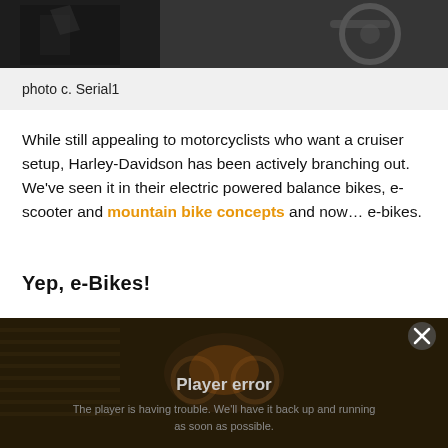[Figure (photo): Partial photo of a motorcycle or e-bike, dark background, visible wheel/engine components, cut off at top]
photo c. Serial1
While still appealing to motorcyclists who want a cruiser setup, Harley-Davidson has been actively branching out. We've seen it in their electric powered balance bikes, e-scooter and mountain bike concepts and now… e-bikes.
Yep, e-Bikes!
[Figure (screenshot): Video player with dark background showing a blurred motorcycle image, displaying 'Player error' and message 'The player is having trouble. We'll have it back up and running as soon as possible.' with a close (X) button in the top right.]